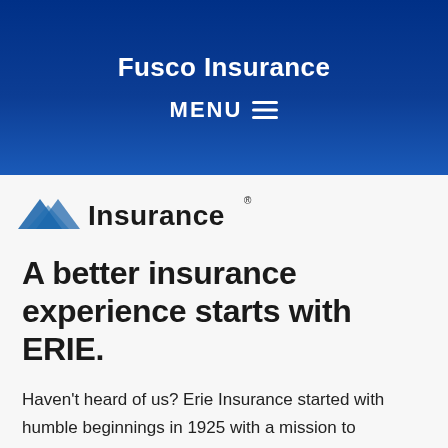Fusco Insurance
MENU ☰
[Figure (logo): Erie Insurance logo with blue geometric mountain/roof shapes and the text 'Insurance' with registered trademark symbol]
A better insurance experience starts with ERIE.
Haven't heard of us? Erie Insurance started with humble beginnings in 1925 with a mission to emphasize customer service above all else. Though we've grown to reach the Fortune 500